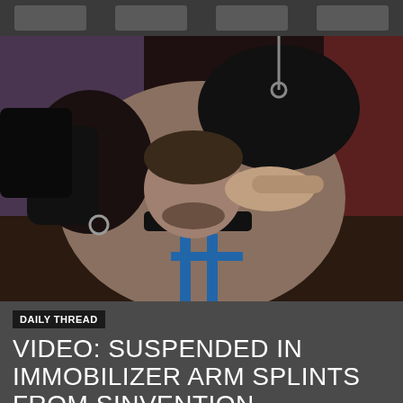Navigation bar
[Figure (photo): Two men, one wearing leather gloves and a leather hood/mask being held by another man, with leather collar and blue harness straps visible]
DAILY THREAD
VIDEO: SUSPENDED IN IMMOBILIZER ARM SPLINTS FROM SINVENTION